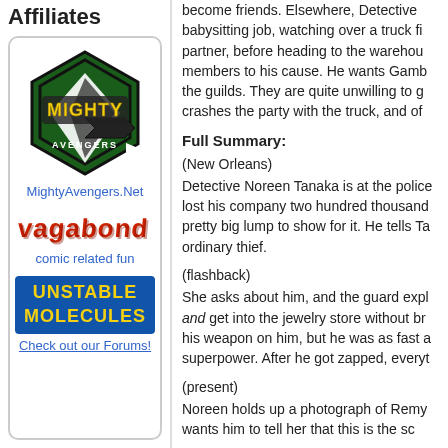Affiliates
[Figure (logo): Mighty Avengers logo - hexagonal shape with green and black background, yellow 'MIGHTY' text and 'AVENGERS' below with arrow]
MightyAvengers.Net
[Figure (logo): Vagabond logo - stylized red/orange graffiti-style text]
comic related fun
[Figure (logo): Unstable Molecules logo - blue background with yellow/red text]
Check out our Forums!
become friends. Elsewhere, Detective babysitting job, watching over a truck fi partner, before heading to the warehou members to his cause. He wants Gamb the guilds. They are quite unwilling to g crashes the party with the truck, and of
Full Summary:
(New Orleans)
Detective Noreen Tanaka is at the police lost his company two hundred thousand pretty big lump to show for it. He tells T ordinary thief.
(flashback)
She asks about him, and the guard expl and get into the jewelry store without br his weapon on him, but he was as fast a superpower. After he got zapped, everyt
(present)
Noreen holds up a photograph of Remy wants him to tell her that this is the sc